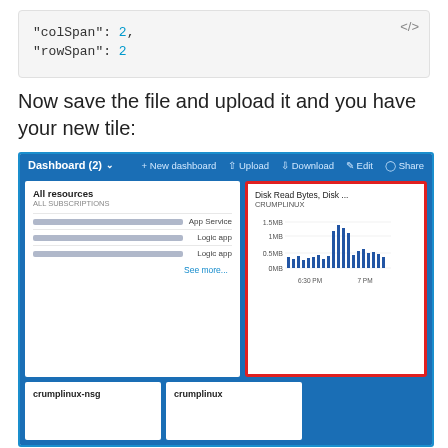[Figure (screenshot): Code block showing JSON properties: "colSpan": 2, and "rowSpan": 2 with a </> icon in the top right]
Now save the file and upload it and you have your new tile:
[Figure (screenshot): Azure Dashboard (2) screenshot showing a highlighted tile with Disk Read Bytes chart for CRUMPLINUX, All resources panel, and bottom tiles for crumplinux-nsg and crumplinux]